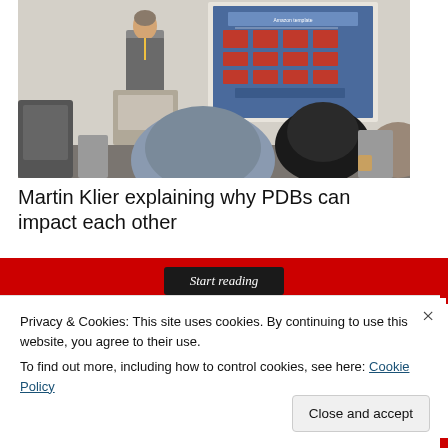[Figure (photo): A presenter (Martin Klier) stands at a podium showing a slide about database architecture. Several attendees are seated with their backs to the camera.]
Martin Klier explaining why PDBs can impact each other
[Figure (screenshot): Red 'Start reading' button bar with black center button reading 'Start reading' in italic text.]
Privacy & Cookies: This site uses cookies. By continuing to use this website, you agree to their use.
To find out more, including how to control cookies, see here: Cookie Policy